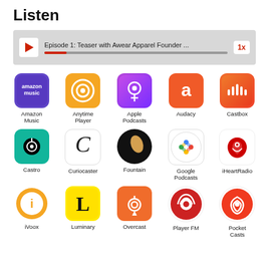Listen
[Figure (screenshot): Audio player widget showing Episode 1: Teaser with Awear Apparel Founder ... with play button, progress bar, and 1x speed control]
[Figure (infographic): Grid of podcast app icons including Amazon Music, Anytime Player, Apple Podcasts, Audacy, Castbox, Castro, Curiocaster, Fountain, Google Podcasts, iHeartRadio, iVoox, Luminary, Overcast, Player FM, Pocket Casts, and more]